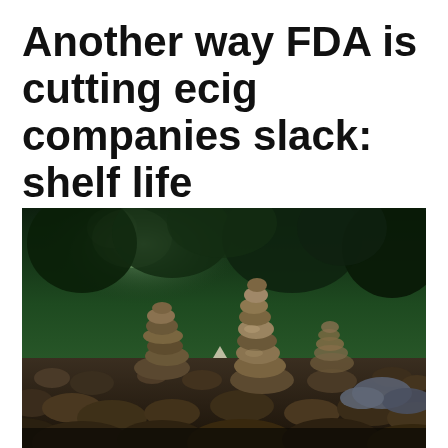Another way FDA is cutting ecig companies slack: shelf life
[Figure (photo): Outdoor photograph of stacked stone cairns (balanced rock piles) in a rocky area with lush green forest/trees in the dark background. Multiple rock stacks of varying heights visible, with the largest stack in the center-right. Scene is moody with low, natural lighting.]